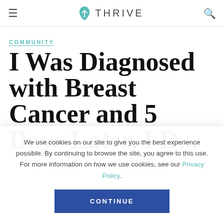THRIVE — navigation bar with hamburger menu and search icon
COMMUNITY
I Was Diagnosed with Breast Cancer and 5 Days Later, I D...
We use cookies on our site to give you the best experience possible. By continuing to browse the site, you agree to this use. For more information on how we use cookies, see our Privacy Policy.
CONTINUE